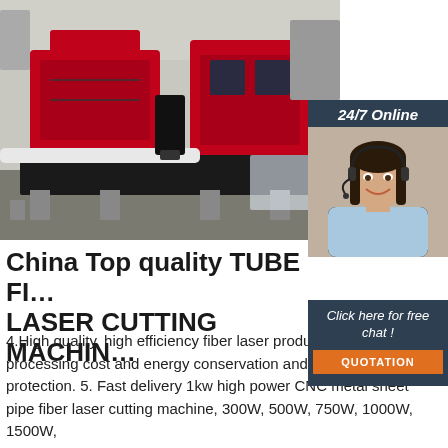[Figure (photo): Industrial tube fiber laser cutting machine in red and black in a factory setting]
24/7 Online
[Figure (photo): Customer service agent, woman with headset smiling]
Click here for free chat !
QUOTATION
China Top quality TUBE FIBER LASER CUTTING MACHINE
4.High quality, high efficiency fiber laser producer. Low processing cost and energy conservation and environment protection. 5. Fast delivery 1kw high power CNC metal sheet pipe fiber laser cutting machine, 300W, 500W, 750W, 1000W, 1500W, 2000W